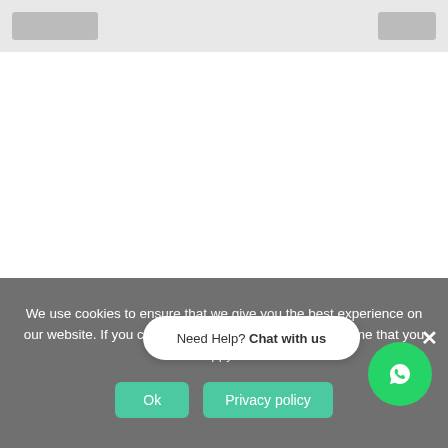[Figure (screenshot): Top navigation bar with logo placeholder rectangles on a light gray background]
We use cookies to ensure that we give you the best experience on our website. If you continue to use this site we will assume that you are happy with it.
Need Help? Chat with us
Ok
Privacy policy